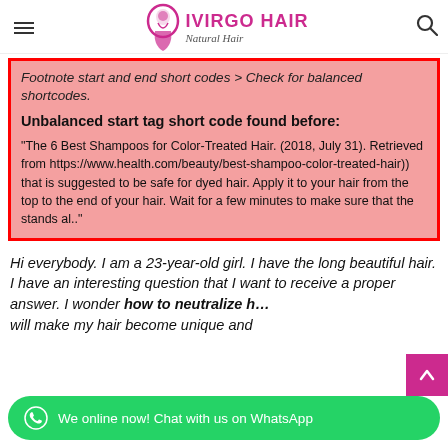IVIRGO HAIR Natural Hair
Footnote start and end short codes > Check for balanced shortcodes.
Unbalanced start tag short code found before:
"The 6 Best Shampoos for Color-Treated Hair. (2018, July 31). Retrieved from https://www.health.com/beauty/best-shampoo-color-treated-hair)) that is suggested to be safe for dyed hair. Apply it to your hair from the top to the end of your hair. Wait for a few minutes to make sure that the stands al.."
Hi everybody. I am a 23-year-old girl. I have the long beautiful hair. I have an interesting question that I want to receive a proper answer. I wonder how to neutralize … will make my hair become unique and